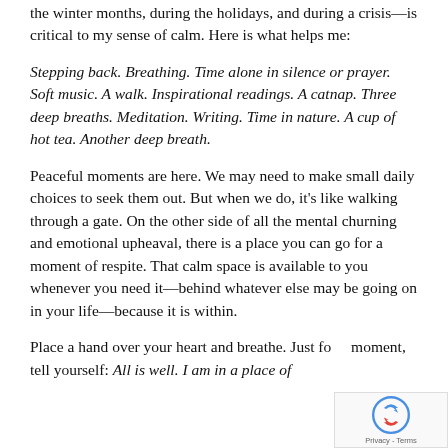the winter months, during the holidays, and during a crisis—is critical to my sense of calm. Here is what helps me:
Stepping back. Breathing. Time alone in silence or prayer. Soft music. A walk. Inspirational readings. A catnap. Three deep breaths. Meditation. Writing. Time in nature. A cup of hot tea. Another deep breath.
Peaceful moments are here. We may need to make small daily choices to seek them out. But when we do, it's like walking through a gate. On the other side of all the mental churning and emotional upheaval, there is a place you can go for a moment of respite. That calm space is available to you whenever you need it—behind whatever else may be going on in your life—because it is within.
Place a hand over your heart and breathe. Just for a moment, tell yourself: All is well. I am in a place of